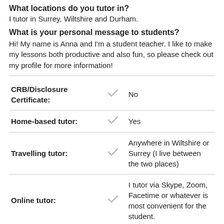What locations do you tutor in?
I tutor in Surrey, Wiltshire and Durham.
What is your personal message to students?
Hi! My name is Anna and I'm a student teacher. I like to make my lessons both productive and also fun, so please check out my profile for more information!
|  |  |  |
| --- | --- | --- |
| CRB/Disclosure Certificate: | ✓ | No |
| Home-based tutor: | ✓ | Yes |
| Travelling tutor: | ✓ | Anywhere in Wiltshire or Surrey (I live between the two places) |
| Online tutor: | ✓ | I tutor via Skype, Zoom, Facetime or whatever is most convenient for the student. |